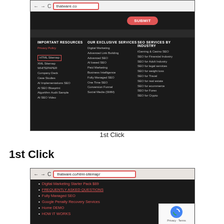[Figure (screenshot): Screenshot of thatware.co website showing browser address bar with thatware.co highlighted in red, a submit button, and footer columns: IMPORTANT RESOURCES, OUR EXCLUSIVE SERVICES, SEO SERVICES BY INDUSTRY with HTML Sitemap highlighted in red box]
1st Click
1st Click
[Figure (screenshot): Screenshot of thatware.co/html-sitemap/ page showing browser with URL highlighted, list items including Digital Marketing Starter Pack $89, FREQUENTLY ASKED QUESTIONS, Fully Managed SEO (highlighted in red box), Google Penalty Recovery Services, Home DEMO, HOW IT WORKS, with reCAPTCHA badge visible]